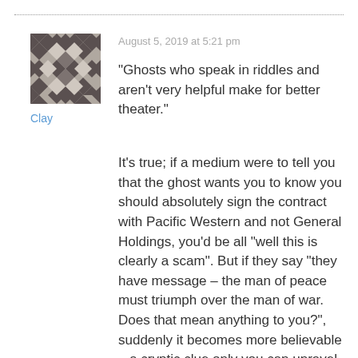[Figure (illustration): Geometric quilt-pattern avatar in dark grey/taupe, square with repeating star pattern]
Clay
August 5, 2019 at 5:21 pm
“Ghosts who speak in riddles and aren’t very helpful make for better theater.”
It’s true; if a medium were to tell you that the ghost wants you to know you should absolutely sign the contract with Pacific Western and not General Holdings, you’d be all “well this is clearly a scam”. But if they say “they have message – the man of peace must triumph over the man of war. Does that mean anything to you?”, suddenly it becomes more believable – a cryptic clue only you can unravel. (I may have been cutting my Dark Shadows with a little Jonathan Creek.)